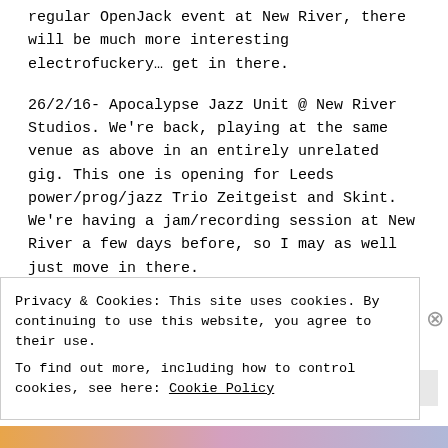regular OpenJack event at New River, there will be much more interesting electrofuckery… get in there.
26/2/16- Apocalypse Jazz Unit @ New River Studios. We're back, playing at the same venue as above in an entirely unrelated gig. This one is opening for Leeds power/prog/jazz Trio Zeitgeist and Skint. We're having a jam/recording session at New River a few days before, so I may as well just move in there.
5/3/16 Apocalypse Jazz Unit@ Hundred Years Gallery. Back to Hundred Years, this time we'll be playing alongside Brighton krow West Hill Blast Quartet
Privacy & Cookies: This site uses cookies. By continuing to use this website, you agree to their use.
To find out more, including how to control cookies, see here: Cookie Policy
Close and accept